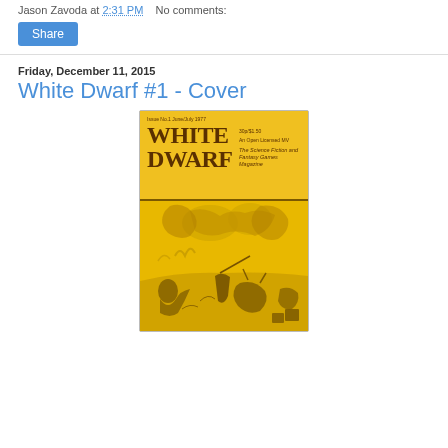Jason Zavoda at 2:31 PM   No comments:
Share
Friday, December 11, 2015
White Dwarf #1 - Cover
[Figure (photo): Cover of White Dwarf magazine Issue No.1, June/July 1977. Yellow background with gothic lettering 'WHITE DWARF' and subtitle 'The Science Fiction and Fantasy Games Magazine'. Features a fantasy illustration with figures in battle.]